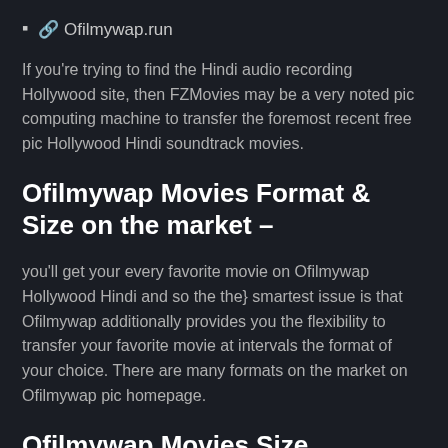🔗 Ofilmywap.run
If you're trying to find the Hindi audio recording Hollywood site, then FZMovies may be a very noted pic computing machine to transfer the foremost recent free pic Hollywood Hindi soundtrack movies.
Ofilmywap Movies Format & Size on the market –
you'll get your every favorite movie on Ofilmywap Hollywood Hindi and so the the} smartest issue is that Ofilmywap additionally provides you the flexibility to transfer your favorite movie at intervals the format of your choice. There are many formats on the market on Ofilmywap pic homepage.
Ofilmywap Movies Size Ofilmywap Movies Format